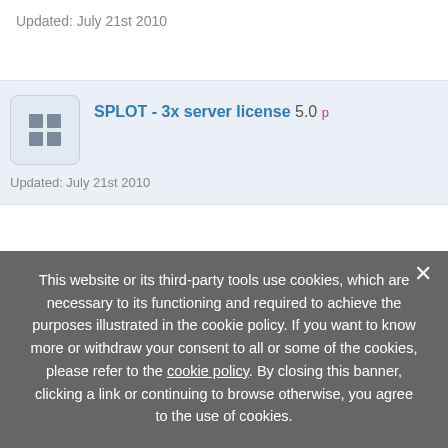Updated: July 21st 2010
SPLOT - 3x server license 5.0
Updated: July 21st 2010
AccuPlan Personal Edition 2.0.4
Updated: July 21st 2010
SPLOT - Server license + netwo...
Updated: July 21st 2010
This website or its third-party tools use cookies, which are necessary to its functioning and required to achieve the purposes illustrated in the cookie policy. If you want to know more or withdraw your consent to all or some of the cookies, please refer to the cookie policy. By closing this banner, clicking a link or continuing to browse otherwise, you agree to the use of cookies.